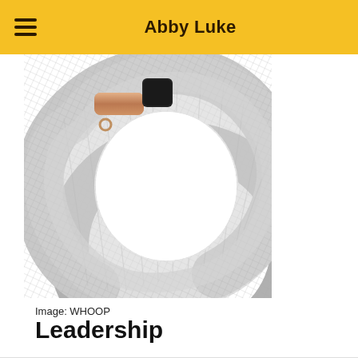Abby Luke
[Figure (photo): A WHOOP fitness tracker wristband with a white/silver woven band and a rose gold metal clasp/sensor module, photographed on a white background. The image is cropped at the top.]
Image: WHOOP
Leadership